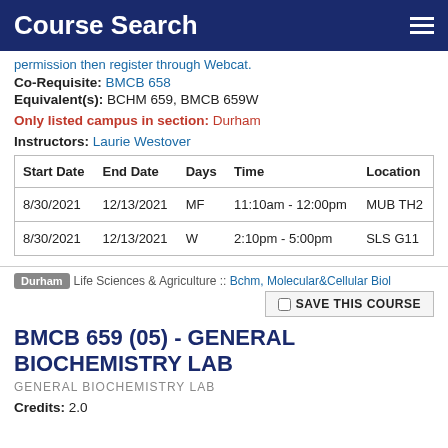Course Search
permission then register through Webcat.
Co-Requisite: BMCB 658
Equivalent(s): BCHM 659, BMCB 659W
Only listed campus in section: Durham
Instructors: Laurie Westover
| Start Date | End Date | Days | Time | Location |
| --- | --- | --- | --- | --- |
| 8/30/2021 | 12/13/2021 | MF | 11:10am - 12:00pm | MUB TH2 |
| 8/30/2021 | 12/13/2021 | W | 2:10pm - 5:00pm | SLS G11 |
Durham  Life Sciences & Agriculture :: Bchm, Molecular&Cellular Biol
SAVE THIS COURSE
BMCB 659 (05) - GENERAL BIOCHEMISTRY LAB
GENERAL BIOCHEMISTRY LAB
Credits: 2.0